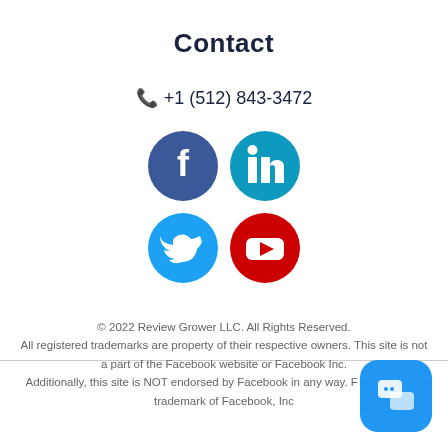Contact
📞 +1 (512) 843-3472
[Figure (illustration): Four social media icons in a 2x2 grid: Facebook (blue circle with f), LinkedIn (teal circle with in), Twitter (light blue circle with bird), YouTube (red circle with play button)]
© 2022 Review Grower LLC. All Rights Reserved. All registered trademarks are property of their respective owners. This site is not a part of the Facebook website or Facebook Inc. Additionally, this site is NOT endorsed by Facebook in any way. Facebook is a trademark of Facebook, Inc